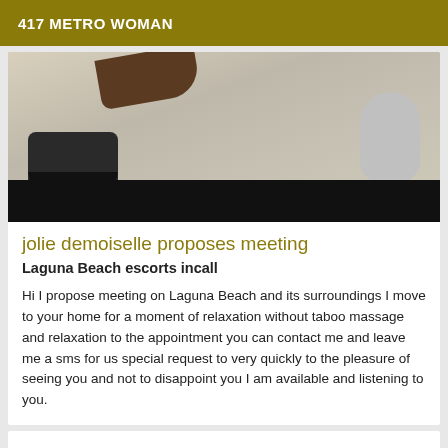417 METRO WOMAN
[Figure (photo): Photo showing floor tiles with a hairbrush, a shoe, and other objects visible. A black bar covers the lower portion of the image.]
jolie demoiselle proposes meeting
Laguna Beach escorts incall
Hi I propose meeting on Laguna Beach and its surroundings I move to your home for a moment of relaxation without taboo massage and relaxation to the appointment you can contact me and leave me a sms for us special request to very quickly to the pleasure of seeing you and not to disappoint you I am available and listening to you.